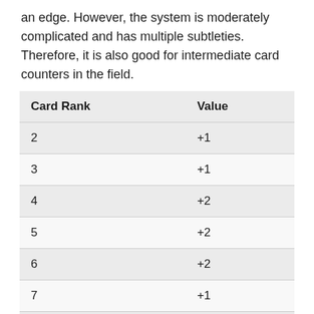an edge. However, the system is moderately complicated and has multiple subtleties. Therefore, it is also good for intermediate card counters in the field.
| Card Rank | Value |
| --- | --- |
| 2 | +1 |
| 3 | +1 |
| 4 | +2 |
| 5 | +2 |
| 6 | +2 |
| 7 | +1 |
| 8 | 0 |